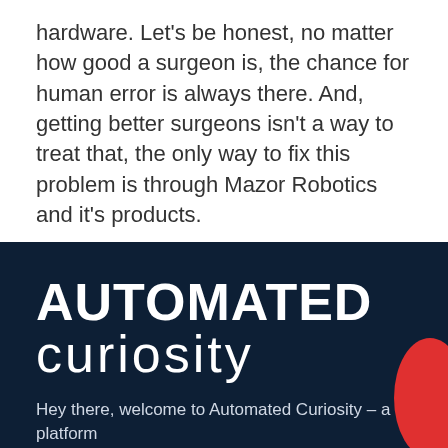hardware. Let's be honest, no matter how good a surgeon is, the chance for human error is always there. And, getting better surgeons isn't a way to treat that, the only way to fix this problem is through Mazor Robotics and it's products.
[Figure (logo): Automated Curiosity logo: 'AUTOMATED' in bold white uppercase and 'curiosity' in light white lowercase, on a dark navy background]
Hey there, welcome to Automated Curiosity – a platform